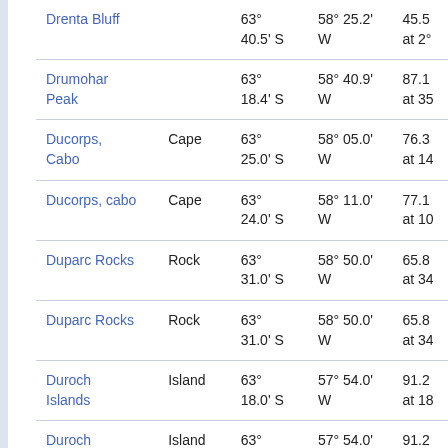| Name | Type | Latitude | Longitude | Elevation |
| --- | --- | --- | --- | --- |
| Drenta Bluff |  | 63° 40.5' S | 58° 25.2' W | 45.5 at 2° |
| Drumohar Peak |  | 63° 18.4' S | 58° 40.9' W | 87.1 at 35 |
| Ducorps, Cabo | Cape | 63° 25.0' S | 58° 05.0' W | 76.3 at 14 |
| Ducorps, cabo | Cape | 63° 24.0' S | 58° 11.0' W | 77.1 at 10 |
| Duparc Rocks | Rock | 63° 31.0' S | 58° 50.0' W | 65.8 at 34 |
| Duparc Rocks | Rock | 63° 31.0' S | 58° 50.0' W | 65.8 at 34 |
| Duroch Islands | Island | 63° 18.0' S | 57° 54.0' W | 91.2 at 18 |
| Duroch Islands | Island | 63° 18.0' S | 57° 54.0' W | 91.2 at 18 |